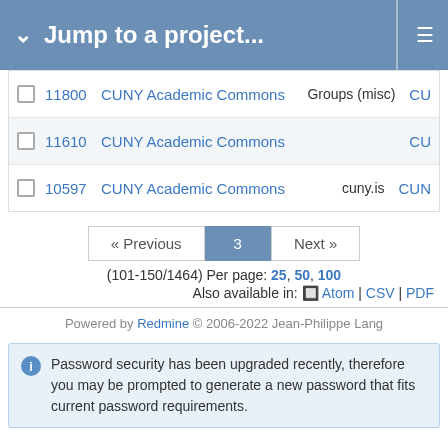Jump to a project...
|  | # | Name | Tag | Suffix |
| --- | --- | --- | --- | --- |
|  | 11800 | CUNY Academic Commons | Groups (misc) | CU |
|  | 11610 | CUNY Academic Commons |  | CU |
|  | 10597 | CUNY Academic Commons | cuny.is | CUN |
« Previous  3  Next »
(101-150/1464) Per page: 25, 50, 100
Also available in: Atom | CSV | PDF
Powered by Redmine © 2006-2022 Jean-Philippe Lang
Password security has been upgraded recently, therefore you may be prompted to generate a new password that fits current password requirements.